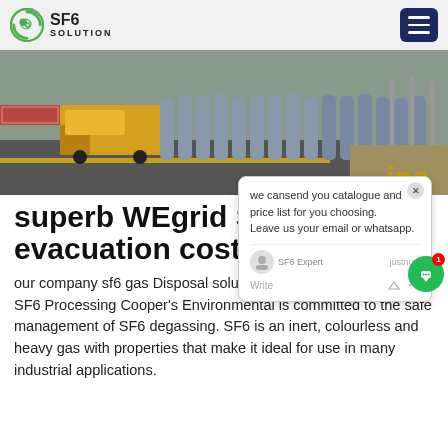SF6 SOLUTION
[Figure (photo): Industrial scene with large grey gas cylinders lined up along a road, yellow construction vehicle in background, dry grass and fencing visible. Text 'ina' in gold italic overlay.]
superb WEgrid SF6 evacuation cost
our company sf6 gas Disposal solutionsSulphur Hexafluoride SF6 Processing Cooper's Environmental is committed to the safe management of SF6 degassing. SF6 is an inert, colourless and heavy gas with properties that make it ideal for use in many industrial applications.